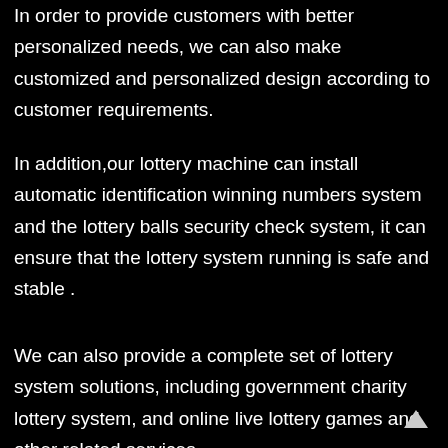In order to provide customers with better personalized needs, we can also make customized and personalized design according to customer requirements.
In addition,our lottery machine can install automatic identification winning numbers system and the lottery balls security check system, it can ensure that the lottery system running is safe and stable .
We can also provide a complete set of lottery system solutions, including government charity lottery system, and online live lottery games and other related services.